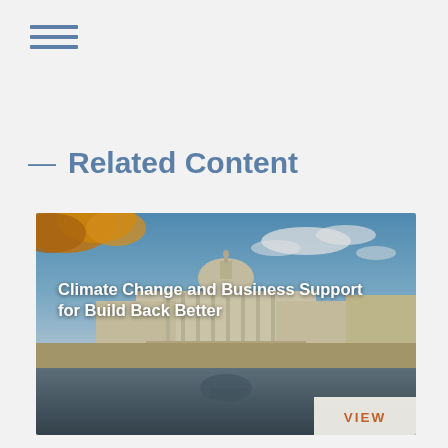☰
— Related Content
[Figure (photo): Photo of the US Capitol building with autumn foliage and a reflection in water below, overlaid with the text 'Climate Change and Business Support for Build Back Better' and a VIEW button]
Climate Change and Business Support for Build Back Better